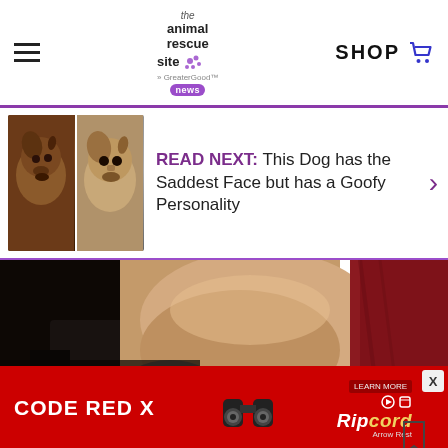the animal rescue site news — SHOP
READ NEXT: This Dog has the Saddest Face but has a Goofy Personality
[Figure (photo): Close-up photo of a person's arm or body part near a car interior, with dark and reddish tones]
[Figure (screenshot): Advertisement banner: CODE RED X with Ripcord Arrow Rest product, red background with binocular/scope imagery, Learn More button, close X button]